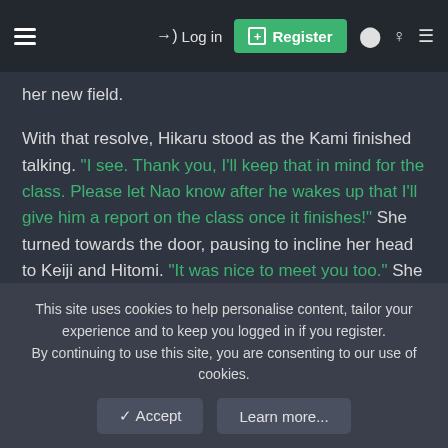≡   →) Log in   [+] Register   ● ♀ ☰
her new field.
With that resolve, Hikaru stood as the Kami finished talking. "I see. Thank you, I'll keep that in mind for the class. Please let Nao know after he wakes up that I'll give him a report on the class once it finishes!" She turned towards the door, pausing to incline her head to Keiji and Hitomi. "It was nice to meet you too." She was certainly glad to have other medical experts around the Byoin.
Retrieving her things and nodding to Sai, Hikaru left the office as well. She was bound for her new office, of course- the place would probably need some renovating!
This site uses cookies to help personalise content, tailor your experience and to keep you logged in if you register.
By continuing to use this site, you are consenting to our use of cookies.